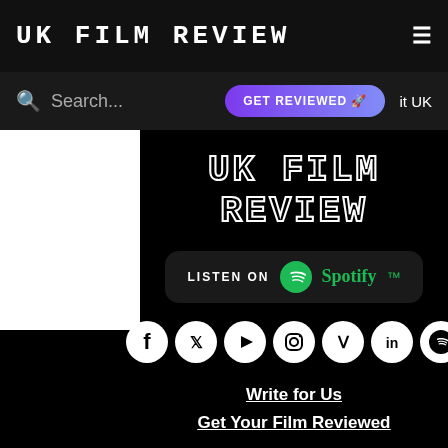UK FILM REVIEW ≡
Search...  GET REVIEWED 🚀  it UK
UK FILM REVIEW
[Figure (logo): Listen on Spotify badge with green Spotify logo and text]
[Figure (infographic): Row of 7 social media icons: Facebook, Twitter, YouTube, Instagram, Vimeo, LinkedIn, Spotify]
Write for Us
Get Your Film Reviewed